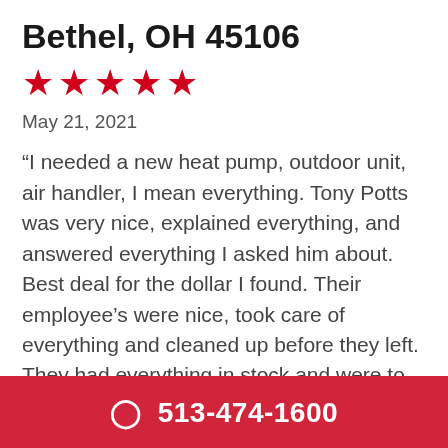Bethel, OH 45106
[Figure (other): Five red star rating icons]
May 21, 2021
“I needed a new heat pump, outdoor unit, air handler, I mean everything. Tony Potts was very nice, explained everything, and answered everything I asked him about. Best deal for the dollar I found. Their employee’s were nice, took care of everything and cleaned up before they left. They had everything in stock and were to install in three days. They did a great job for me.”
513-474-1600